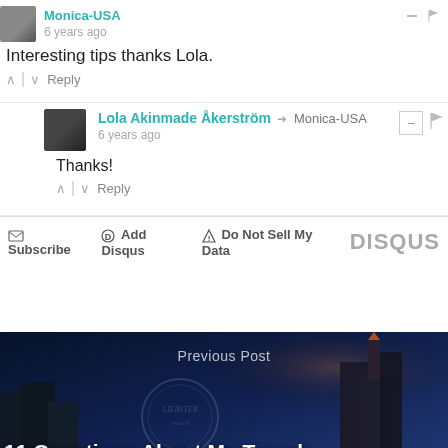Monica-USA
6 years ago
Interesting tips thanks Lola.
↑ | ↓ Reply
Lola Akinmade Åkerström → Monica-USA
6 years ago
Thanks!
↑ | ↓ Reply
✉ Subscribe  D Add Disqus  ▲ Do Not Sell My Data  DISQUS
[Figure (photo): Previous post banner with night-time cityscape background showing European buildings with orange-lit tower, Liebster Award stamp watermark, and text '11 Questions About My Travels –']
Previous Post
11 Questions About My Travels –